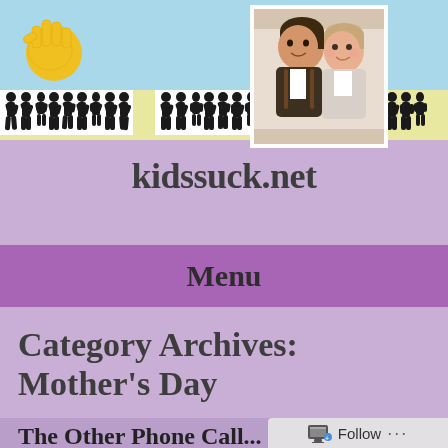[Figure (screenshot): Website header banner for kidssuck.net. Light blue top area with yellow hand/sun logo on left. Yellow strip with black silhouette figures of children. Photo of two young children (a boy and a toddler) in upper right corner with white border.]
kidssuck.net
Menu
Category Archives: Mother's Day
The Other Phone Call...